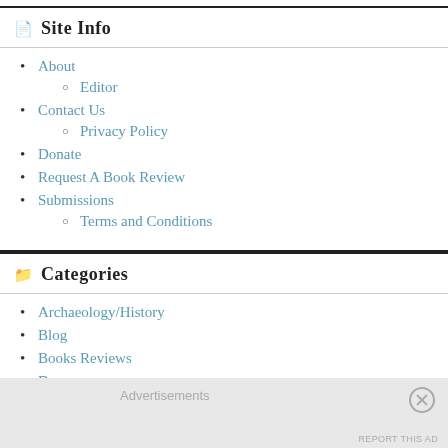Site Info
About
Editor
Contact Us
Privacy Policy
Donate
Request A Book Review
Submissions
Terms and Conditions
Categories
Archaeology/History
Blog
Books Reviews
Drama
Advertisements